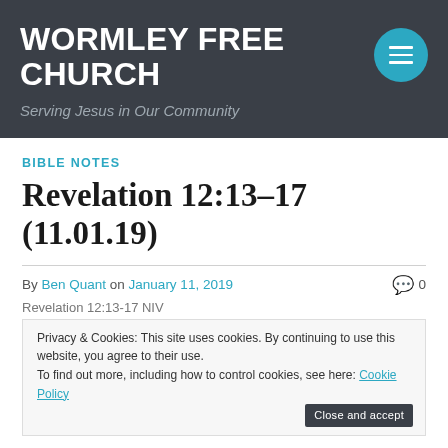WORMLEY FREE CHURCH
Serving Jesus in Our Community
BIBLE NOTES
Revelation 12:13–17 (11.01.19)
By Ben Quant on January 11, 2019  0
Revelation 12:13-17 NIV
Privacy & Cookies: This site uses cookies. By continuing to use this website, you agree to their use. To find out more, including how to control cookies, see here: Cookie Policy
13 When the dragon saw that he had been hurled to the earth, he pursued the woman who had given birth to the